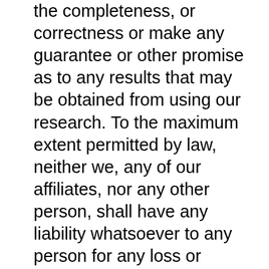the completeness, or correctness or make any guarantee or other promise as to any results that may be obtained from using our research. To the maximum extent permitted by law, neither we, any of our affiliates, nor any other person, shall have any liability whatsoever to any person for any loss or expense, whether direct, indirect, consequential, incidental or otherwise, arising from or relating in any way to any use of or reliance on our research or the information contained therein. Some discussions contain forward looking statements which are based on current expectations and differences can be expected. All of our research, including the estimates, opinions and information contained therein, reflects our judgment as